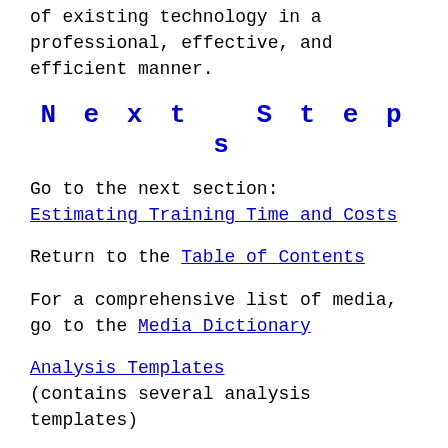of existing technology in a professional, effective, and efficient manner.
Next Steps
Go to the next section: Estimating Training Time and Costs
Return to the Table of Contents
For a comprehensive list of media, go to the Media Dictionary
Analysis Templates (contains several analysis templates)
Pages in the Analysis Phase: